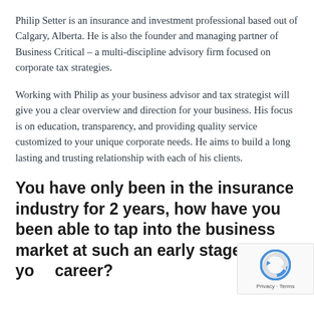Philip Setter is an insurance and investment professional based out of Calgary, Alberta. He is also the founder and managing partner of Business Critical – a multi-discipline advisory firm focused on corporate tax strategies.
Working with Philip as your business advisor and tax strategist will give you a clear overview and direction for your business. His focus is on education, transparency, and providing quality service customized to your unique corporate needs. He aims to build a long lasting and trusting relationship with each of his clients.
You have only been in the insurance industry for 2 years, how have you been able to tap into the business market at such an early stage in your career?